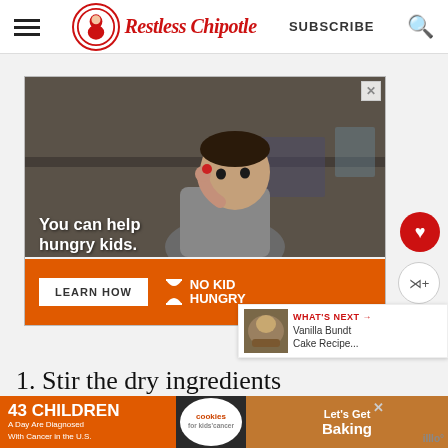Restless Chipotle – SUBSCRIBE
[Figure (photo): Advertisement: No Kid Hungry – child eating, with text 'You can help hungry kids.' and orange bar with LEARN HOW button and NO KID HUNGRY logo]
[Figure (photo): What's Next thumbnail: Vanilla Bundt Cake Recipe]
1. Stir the dry ingredients
[Figure (photo): Bottom advertisement: 43 Children A Day Are Diagnosed With Cancer in the U.S. – cookies for kids' cancer – Let's Get Baking]